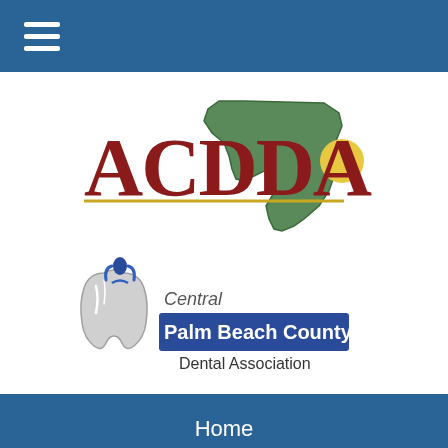[Figure (logo): Blue navigation bar with white hamburger menu icon (three horizontal lines)]
[Figure (logo): ACDDA logo with large red serif text 'ACDDA', a green Florida state silhouette, a yellow sun/circle, and a gold horizontal line beneath the text]
[Figure (logo): Central Palm Beach County Dental Association logo with a stylized tooth and person figure, blue rectangle with white text 'Palm Beach County', and gray text 'Central' and 'Dental Association']
Home
Meet the Dentists
General Dentistry